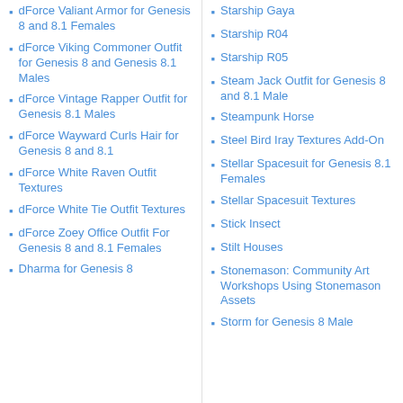dForce Valiant Armor for Genesis 8 and 8.1 Females
dForce Viking Commoner Outfit for Genesis 8 and Genesis 8.1 Males
dForce Vintage Rapper Outfit for Genesis 8.1 Males
dForce Wayward Curls Hair for Genesis 8 and 8.1
dForce White Raven Outfit Textures
dForce White Tie Outfit Textures
dForce Zoey Office Outfit For Genesis 8 and 8.1 Females
Dharma for Genesis 8
Starship Gaya
Starship R04
Starship R05
Steam Jack Outfit for Genesis 8 and 8.1 Male
Steampunk Horse
Steel Bird Iray Textures Add-On
Stellar Spacesuit for Genesis 8.1 Females
Stellar Spacesuit Textures
Stick Insect
Stilt Houses
Stonemason: Community Art Workshops Using Stonemason Assets
Storm for Genesis 8 Male